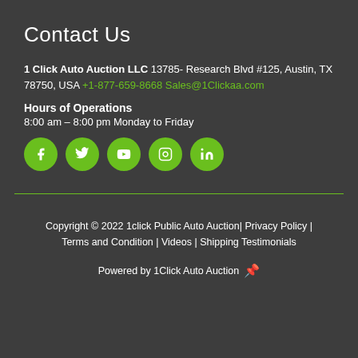Contact Us
1 Click Auto Auction LLC 13785- Research Blvd #125, Austin, TX 78750, USA +1-877-659-8668 Sales@1Clickaa.com
Hours of Operations
8:00 am – 8:00 pm Monday to Friday
[Figure (infographic): Five green circular social media icon buttons: Facebook, Twitter, YouTube, Instagram, LinkedIn]
Copyright © 2022 1click Public Auto Auction| Privacy Policy | Terms and Condition | Videos | Shipping Testimonials
Powered by 1Click Auto Auction